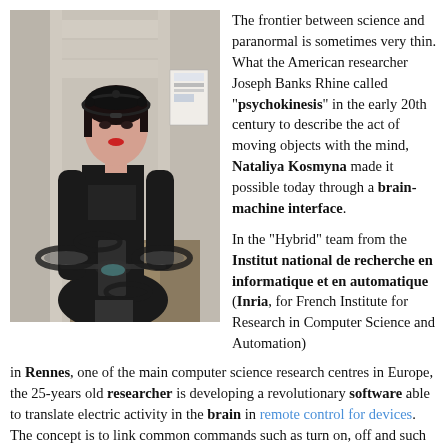[Figure (photo): A young woman in black clothing wearing an EEG headset with sensors on her head, standing in a hall-like environment. In front of her is a quadcopter drone (AR.Drone style). The setting appears to be an indoor research or exhibition space.]
The frontier between science and paranormal is sometimes very thin. What the American researcher Joseph Banks Rhine called "psychokinesis" in the early 20th century to describe the act of moving objects with the mind, Nataliya Kosmyna made it possible today through a brain-machine interface.
In the "Hybrid" team from the Institut national de recherche en informatique et en automatique (Inria, for French Institute for Research in Computer Science and Automation) in Rennes, one of the main computer science research centres in Europe, the 25-years old researcher is developing a revolutionary software able to translate electric activity in the brain in remote control for devices. The concept is to link common commands such as turn on, off and such to simple mental images, such as a cloud, a garden, etc. The images are transferred to the software by the user by means of a helmet